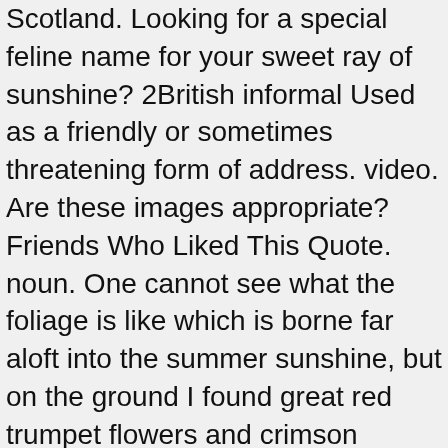Scotland. Looking for a special feline name for your sweet ray of sunshine? 2British informal Used as a friendly or sometimes threatening form of address. video. Are these images appropriate? Friends Who Liked This Quote. noun. One cannot see what the foliage is like which is borne far aloft into the summer sunshine, but on the ground I found great red trumpet flowers and crimson corollas, like those of a. 'My girl summer time fine like sunshine' The summer soldier and the sunshine patriot will, in this crisis, shrink from the service of their country; but he that stands by it now, deserves the love and thanks of man and woman. Looking for a special feline name for your sweet ray of sunshine? This name has a regal ring to it, which makes it sound incredibly appealing. If you don't see the perfect name for your cat below, check out our Ultimate Guide to Naming Your Cat. Create an account and sign in to access this FREE content. The warm wet weather is working wonders on the. One couple spent £2 million on lawyers' fees in a. Researchers will help us better understand the causes and. Find more similar words at wordhippo.com! added by cynti19. Sunshine